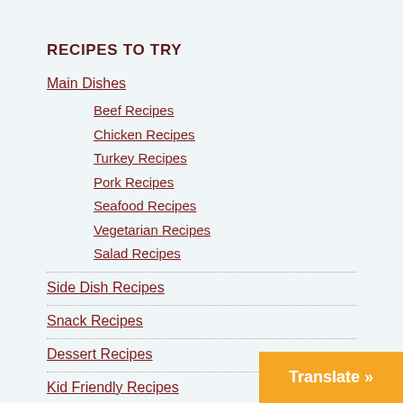RECIPES TO TRY
Main Dishes
Beef Recipes
Chicken Recipes
Turkey Recipes
Pork Recipes
Seafood Recipes
Vegetarian Recipes
Salad Recipes
Side Dish Recipes
Snack Recipes
Dessert Recipes
Kid Friendly Recipes